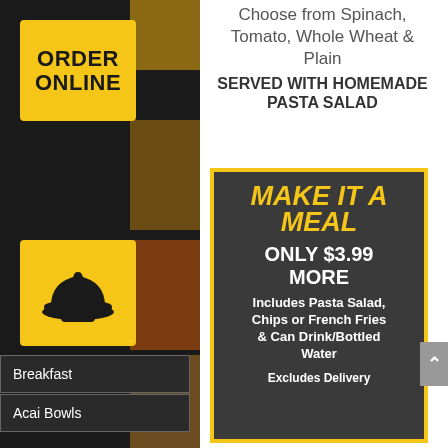[Figure (screenshot): Restaurant website sidebar with ORDER ONLINE button, serving dish icon, phone icon, and navigation menu items (Breakfast, Acai Bowls, Appetizers, Sandwiches, Salads) over food background images]
Choose from Spinach, Tomato, Whole Wheat & Plain
SERVED WITH HOMEMADE PASTA SALAD
MAKE IT A MEAL
ONLY $3.99 MORE
Includes Pasta Salad, Chips or French Fries & Can Drink/Bottled Water
Excludes Delivery